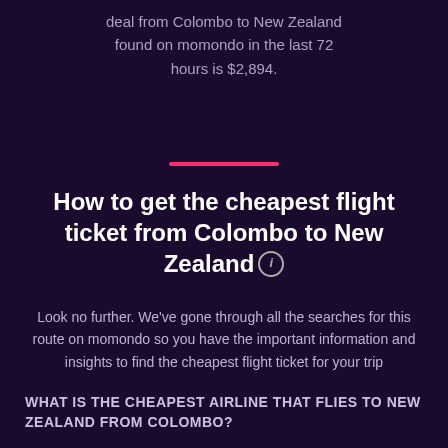deal from Colombo to New Zealand found on momondo in the last 72 hours is $2,894.
How to get the cheapest flight ticket from Colombo to New Zealand
Look no further. We've gone through all the searches for this route on momondo so you have the important information and insights to find the cheapest flight ticket for your trip
WHAT IS THE CHEAPEST AIRLINE THAT FLIES TO NEW ZEALAND FROM COLOMBO?